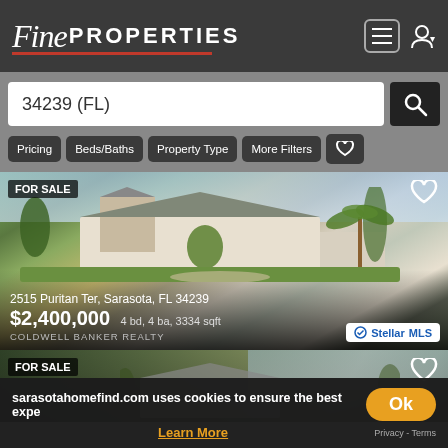Fine PROPERTIES
34239 (FL)
Pricing
Beds/Baths
Property Type
More Filters
[Figure (photo): FOR SALE listing photo: large luxury home at 2515 Puritan Ter, Sarasota, FL 34239 with stone turret, palm trees, and landscaped front yard]
FOR SALE
2515 Puritan Ter, Sarasota, FL 34239
$2,400,000 4 bd, 4 ba, 3334 sqft
COLDWELL BANKER REALTY
Stellar MLS
[Figure (photo): Second FOR SALE listing photo partially visible at bottom]
FOR SALE
sarasotahomefind.com uses cookies to ensure the best expe
Ok
Learn More
Privacy - Terms